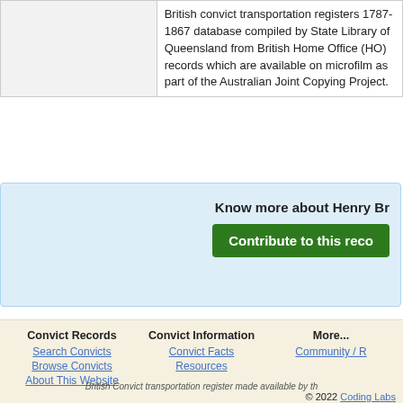|  | British convict transportation registers 1787-1867 database compiled by State Library of Queensland from British Home Office (HO) records which are available on microfilm as part of the Australian Joint Copying Project. |
Know more about Henry Br...
Contribute to this reco...
Convict Records
Search Convicts
Browse Convicts
About This Website
Convict Information
Convict Facts
Resources
More...
Community / ...
British Convict transportation register made available by th...
© 2022 Coding Labs